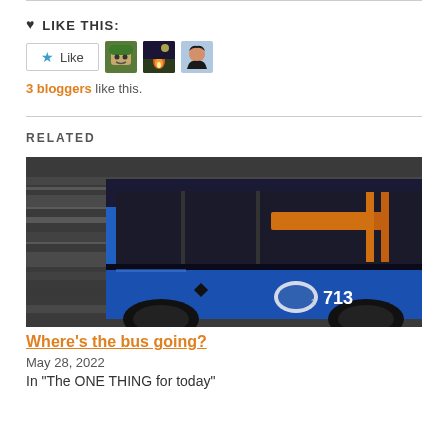LIKE THIS:
[Figure (screenshot): Like button with star icon and three blogger avatar thumbnails]
3 bloggers like this.
RELATED
[Figure (photo): A blue bus numbered 713 in motion, blurred background, motion photography]
Where's the bus going?
May 28, 2022
In "The ONE THING for today"